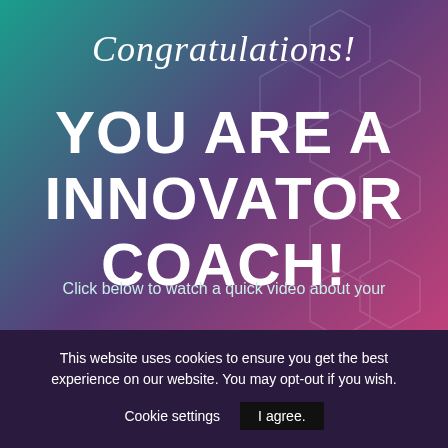Congratulations!
YOU ARE A INNOVATOR COACH!
Click below to watch a quick video about your
This website uses cookies to ensure you get the best experience on our website. You may opt-out if you wish.
Cookie settings    I agree.